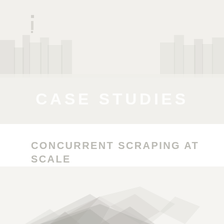[Figure (photo): Faint architectural/cityscape background image in light grays and whites, upper portion of page]
CASE STUDIES
CONCURRENT SCRAPING AT SCALE
[Figure (photo): Faint low-poly geometric abstract image in light grays and whites at bottom of page]